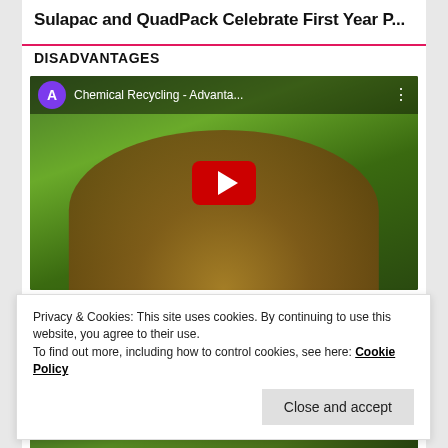Sulapac and QuadPack Celebrate First Year P...
DISADVANTAGES
[Figure (screenshot): YouTube video thumbnail showing a man with sunglasses outdoors, with video title 'Chemical Recycling - Advanta...' and a red play button overlay. Channel avatar shows purple circle with letter A.]
Privacy & Cookies: This site uses cookies. By continuing to use this website, you agree to their use.
To find out more, including how to control cookies, see here: Cookie Policy
Close and accept
[Figure (screenshot): YouTube video thumbnail showing a person outdoors, with video title 'PLA - Advantages and Disadva...' and channel avatar showing purple circle with letter A.]